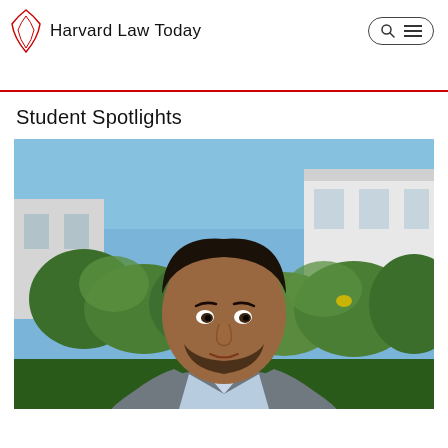Harvard Law Today
Student Spotlights
[Figure (photo): Portrait of a man in a grey blazer and light blue shirt, standing outdoors in front of green bushes and trees with a white building visible in the background under a blue sky.]